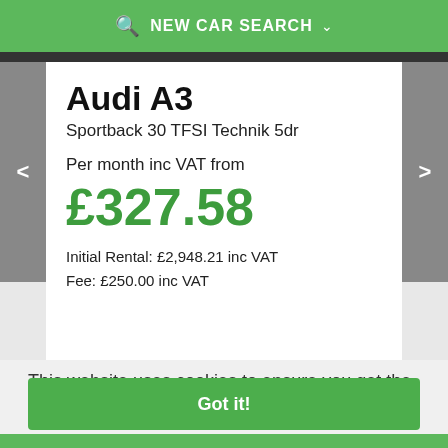NEW CAR SEARCH
Audi A3
Sportback 30 TFSI Technik 5dr
Per month inc VAT from
£327.58
Initial Rental: £2,948.21 inc VAT
Fee: £250.00 inc VAT
This website uses cookies to ensure you get the best experience on our website. Learn more
Got it!